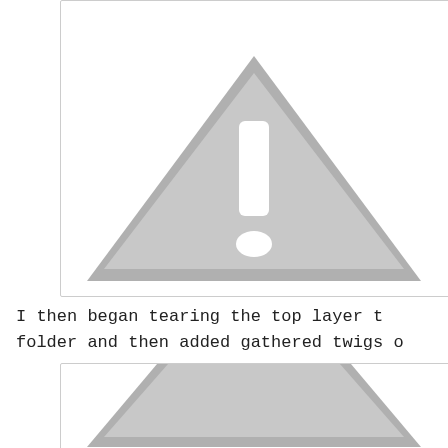[Figure (other): Warning/caution triangle sign icon with exclamation mark, rendered in grey tones on white background inside a bordered box]
I then began tearing the top layer t
folder and then added gathered twigs o
[Figure (other): Partial warning/caution triangle sign icon, cropped at bottom of page, grey tones on white background inside a bordered box]